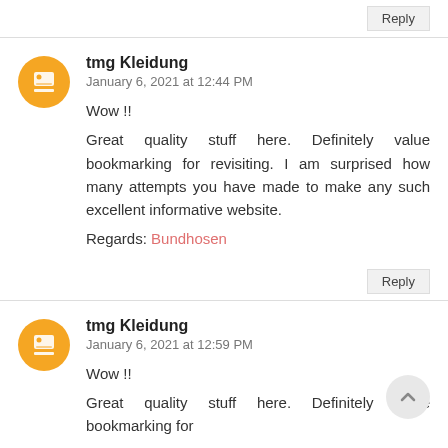Reply
tmg Kleidung
January 6, 2021 at 12:44 PM
Wow !!
Great quality stuff here. Definitely value bookmarking for revisiting. I am surprised how many attempts you have made to make any such excellent informative website.
Regards: Bundhosen
Reply
tmg Kleidung
January 6, 2021 at 12:59 PM
Wow !!
Great quality stuff here. Definitely value bookmarking